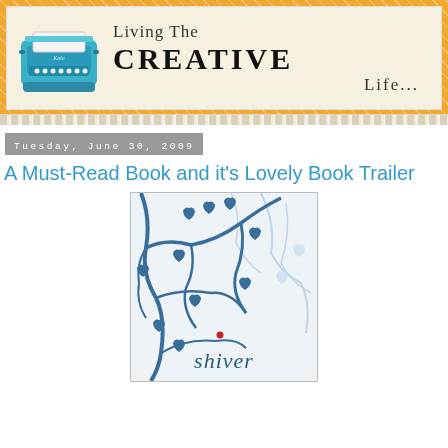[Figure (illustration): Blog header banner for 'Living The CREATIVE Life...' with a teal vintage typewriter illustration on a cream background, surrounded by an orange and cream diamond-pattern border]
Tuesday, June 30, 2009
A Must-Read Book and it's Lovely Book Trailer
[Figure (photo): Book cover for 'shiver' — blue illustrated tree branches with heart-shaped leaves on a white background, with the word 'shiver' in lowercase at the bottom and a small red dot accent]